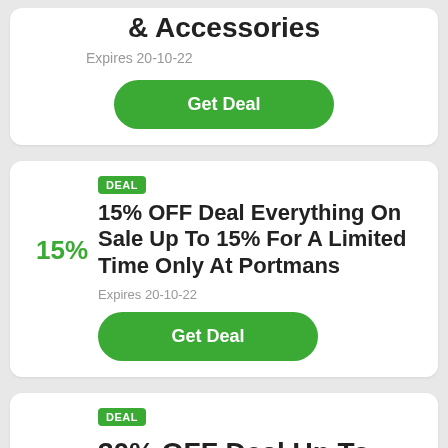& Accessories
Expires 20-10-22
Get Deal
DEAL
15% OFF Deal Everything On Sale Up To 15% For A Limited Time Only At Portmans
Expires 20-10-22
Get Deal
DEAL
30% OFF Deal Up To